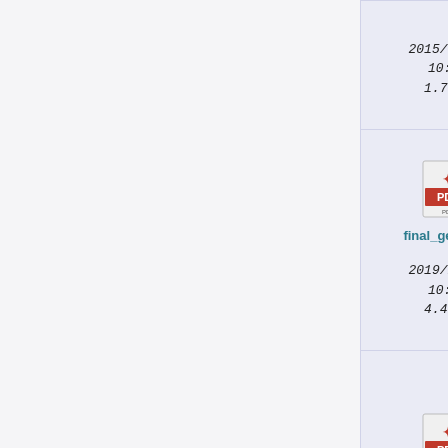2015/09/25 10:12 1.7 MB
[Figure (screenshot): PDF file icon for final_gerson...]
final_gerson...
2019/12/19 10:16 4.4 MB
[Figure (screenshot): PDF file icon for image_com...]
image_com...
gabr...
37
inpe...